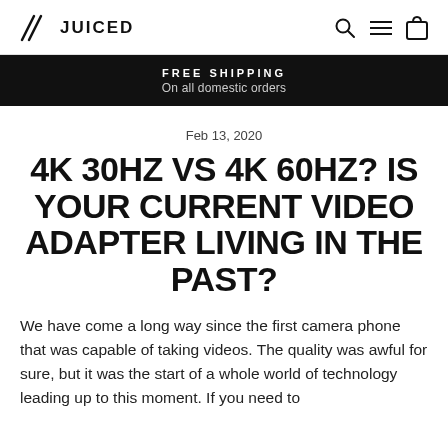JUICED
FREE SHIPPING
On all domestic orders
Feb 13, 2020
4K 30HZ VS 4K 60HZ? IS YOUR CURRENT VIDEO ADAPTER LIVING IN THE PAST?
We have come a long way since the first camera phone that was capable of taking videos. The quality was awful for sure, but it was the start of a whole world of technology leading up to this moment. If you need to